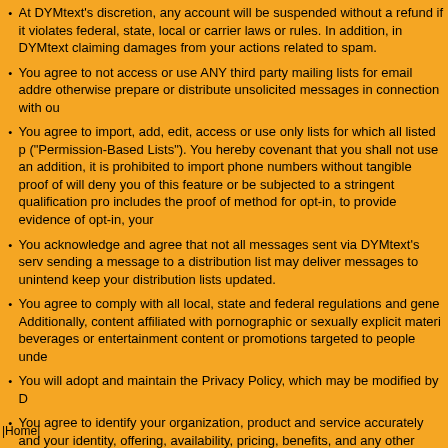At DYMtext's discretion, any account will be suspended without a refund if it violates federal, state, local or carrier laws or rules. In addition, in DYMtext claiming damages from your actions related to spam.
You agree to not access or use ANY third party mailing lists for email addresses, otherwise prepare or distribute unsolicited messages in connection with ou
You agree to import, add, edit, access or use only lists for which all listed p ("Permission-Based Lists"). You hereby covenant that you shall not use an addition, it is prohibited to import phone numbers without tangible proof of will deny you of this feature or be subjected to a stringent qualification pro includes the proof of method for opt-in, to provide evidence of opt-in, your
You acknowledge and agree that not all messages sent via DYMtext's serv sending a message to a distribution list may deliver messages to unintend keep your distribution lists updated.
You agree to comply with all local, state and federal regulations and gene Additionally, content affiliated with pornographic or sexually explicit materi beverages or entertainment content or promotions targeted to people unde
You will adopt and maintain the Privacy Policy, which may be modified by D
You agree to identify your organization, product and service accurately and your identity, offering, availability, pricing, benefits, and any other aspects o
|Home|